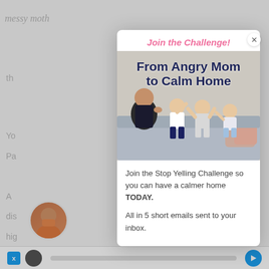messy moth
th
Yo
Pa
A...
dis
hig
m
a c
rev
Join the Challenge!
[Figure (photo): A mother sitting on a couch with three children, all making playful gestures, against a white brick wall background. Overlaid text reads 'From Angry Mom to Calm Home'.]
Join the Stop Yelling Challenge so you can have a calmer home TODAY.

All in 5 short emails sent to your inbox.